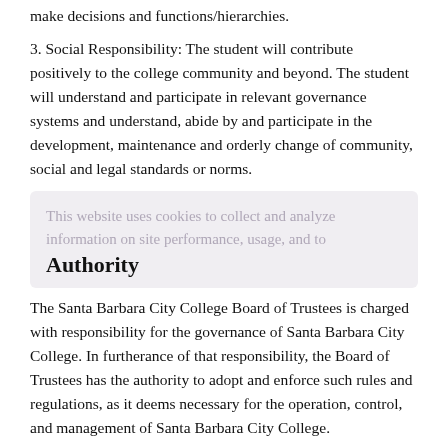make decisions and functions/hierarchies.
3. Social Responsibility: The student will contribute positively to the college community and beyond. The student will understand and participate in relevant governance systems and understand, abide by and participate in the development, maintenance and orderly change of community, social and legal standards or norms.
This website uses cookies to collect and analyze information on site performance, usage, and to
Authority
The Santa Barbara City College Board of Trustees is charged with responsibility for the governance of Santa Barbara City College. In furtherance of that responsibility, the Board of Trustees has the authority to adopt and enforce such rules and regulations, as it deems necessary for the operation, control, and management of Santa Barbara City College.